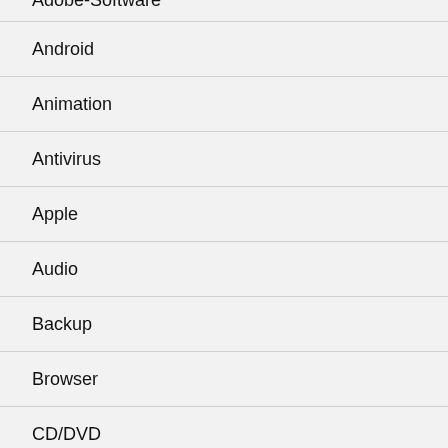Adobe-Software
Android
Animation
Antivirus
Apple
Audio
Backup
Browser
CD/DVD